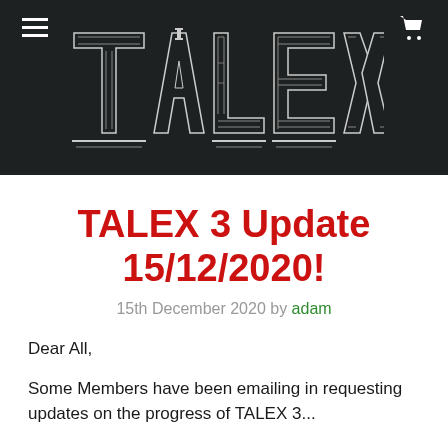[Figure (logo): TALEX logo in large outlined block letters on dark background with menu hamburger icon top-left and shopping cart icon top-right]
TALEX 3 Update 15/12/2020!
15th December 2020 by adam
Dear All,
Some Members have been emailing in requesting updates on the progress of TALEX 3...